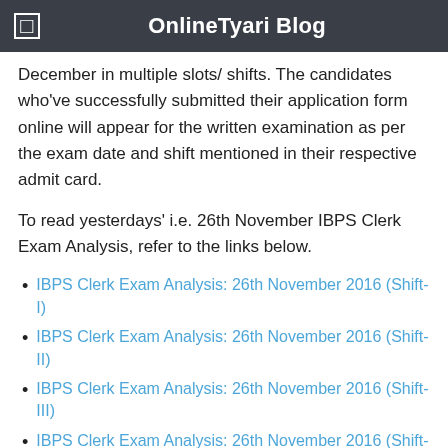OnlineTyari Blog
December in multiple slots/ shifts. The candidates who've successfully submitted their application form online will appear for the written examination as per the exam date and shift mentioned in their respective admit card.
To read yesterdays' i.e. 26th November IBPS Clerk Exam Analysis, refer to the links below.
IBPS Clerk Exam Analysis: 26th November 2016 (Shift-I)
IBPS Clerk Exam Analysis: 26th November 2016 (Shift-II)
IBPS Clerk Exam Analysis: 26th November 2016 (Shift-III)
IBPS Clerk Exam Analysis: 26th November 2016 (Shift-IV)
Continuing our series, this article entails IBPS Clerk Exam Analysis, Paper Review and Level of Difficulty of each section asked in today's preliminary examination i.e. 27 November 2016